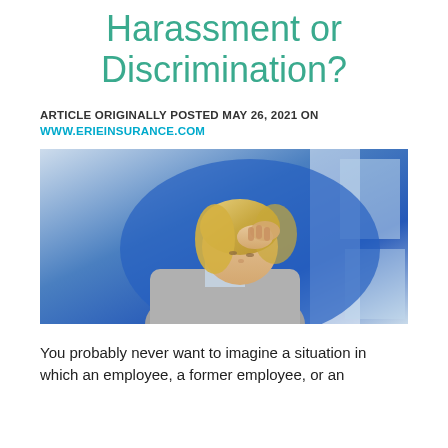Harassment or Discrimination?
ARTICLE ORIGINALLY POSTED MAY 26, 2021 ON WWW.ERIEINSURANCE.COM
[Figure (photo): A blonde woman in a grey blazer sitting with her head bowed and hands clasped near her forehead, appearing stressed or distressed, with a blurred blue office background.]
You probably never want to imagine a situation in which an employee, a former employee, or an